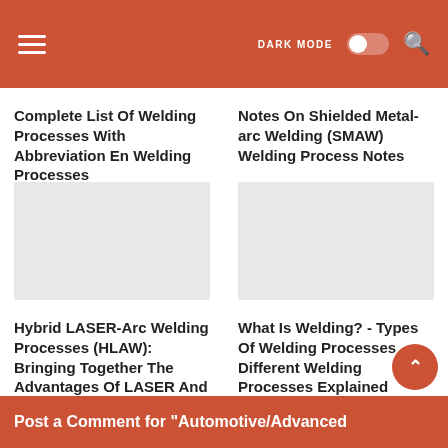DARK MODE [toggle] [search]
Complete List Of Welding Processes With Abbreviation En Welding Processes
Notes On Shielded Metal-arc Welding (SMAW) Welding Process Notes
[Figure (photo): Thumbnail image placeholder for welding article (top left)]
[Figure (photo): Thumbnail image placeholder for welding article (top right)]
Hybrid LASER-Arc Welding Processes (HLAW): Bringing Together The Advantages Of LASER And Arc Laser Welding Processes
What Is Welding? - Types Of Welding Processes Different Welding Processes Explained
Post a Comment for "Automotive/Advanced